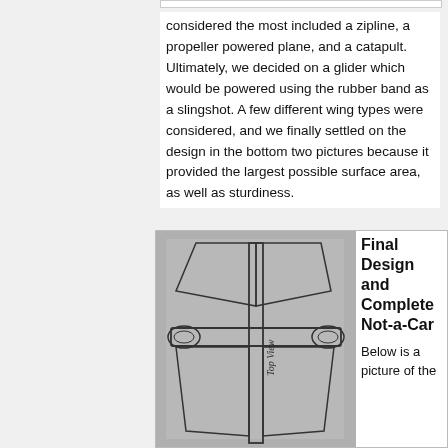considered the most included a zipline, a propeller powered plane, and a catapult. Ultimately, we decided on a glider which would be powered using the rubber band as a slingshot. A few different wing types were considered, and we finally settled on the design in the bottom two pictures because it provided the largest possible surface area, as well as sturdiness.
[Figure (illustration): Hand-drawn top view sketch of a glider wing design on gray background, showing a rectangular fuselage with two wings angled backward, with circular wheel/spool shapes at the wing junction. Labeled 'Top View' in handwriting.]
Final Design and Complete Not-a-Car
Below is a picture of the